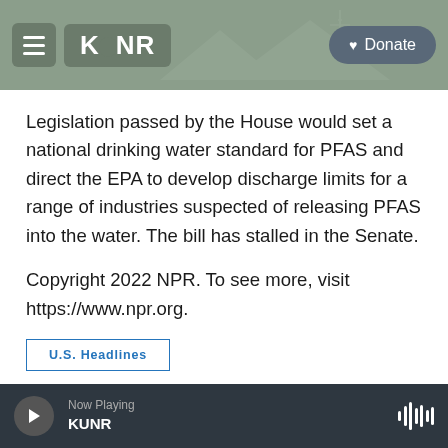KUNR | Donate
Legislation passed by the House would set a national drinking water standard for PFAS and direct the EPA to develop discharge limits for a range of industries suspected of releasing PFAS into the water. The bill has stalled in the Senate.
Copyright 2022 NPR. To see more, visit https://www.npr.org.
U.S. Headlines
Now Playing KUNR